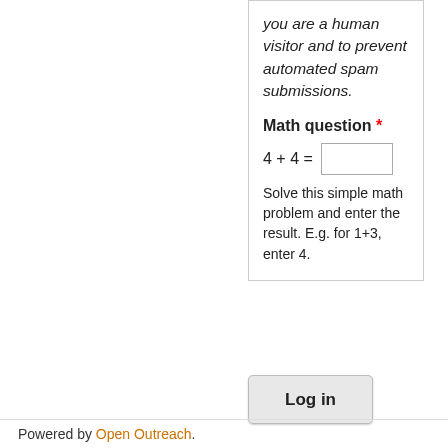you are a human visitor and to prevent automated spam submissions.
Math question *
Solve this simple math problem and enter the result. E.g. for 1+3, enter 4.
Log in
Powered by Open Outreach.